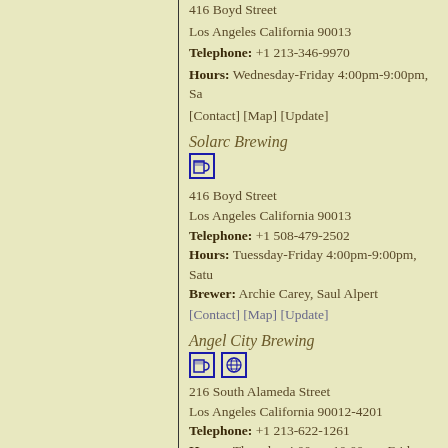416 Boyd Street
Los Angeles California 90013
Telephone: +1 213-346-9970
Hours: Wednesday-Friday 4:00pm-9:00pm, Sa...
[Contact] [Map] [Update]
Solarc Brewing
416 Boyd Street
Los Angeles California 90013
Telephone: +1 508-479-2502
Hours: Tuessday-Friday 4:00pm-9:00pm, Satu...
Brewer: Archie Carey, Saul Alpert
[Contact] [Map] [Update]
Angel City Brewing
216 South Alameda Street
Los Angeles California 90012-4201
Telephone: +1 213-622-1261
Hours: Thursday 4:00pm-10:00pm, Friday 4:0... 8:00pm.
Brewer: Dieter Foerstner
[Contact] [Map] [Update]
Traction Avenue Brewpub — Plann...
826 East Traction Avenue
Los Angeles California 90013